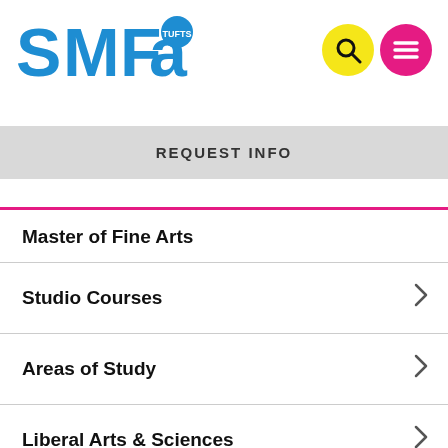[Figure (logo): SMFA at Tufts logo in blue]
[Figure (screenshot): Search icon (magnifying glass) on yellow circle and hamburger menu icon on pink/magenta circle]
REQUEST INFO
Master of Fine Arts
Studio Courses
Areas of Study
Liberal Arts & Sciences